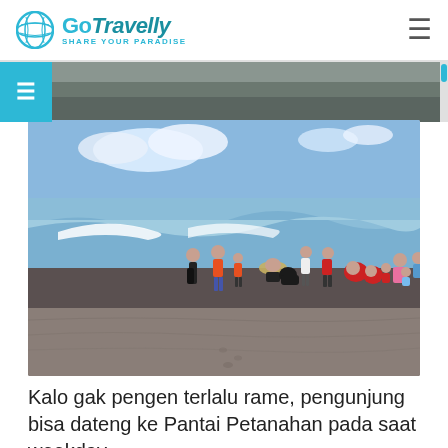GoTravelly SHARE YOUR PARADISE
[Figure (photo): Beach scene with dark sand and waves, people playing on the shore including children and adults in colorful clothing]
Kalo gak pengen terlalu rame, pengunjung bisa dateng ke Pantai Petanahan pada saat weekday atau hari biasa. Karena pada hari itu, Pantai...